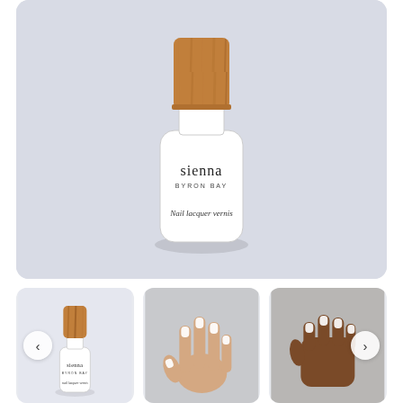[Figure (photo): Large product photo of a Sienna Byron Bay nail lacquer vernis bottle with a wooden cap, white contents, on a light grey background. The label reads 'sienna BYRON BAY Nail lacquer vernis'.]
[Figure (photo): Thumbnail of the same Sienna Byron Bay nail polish bottle, smaller view, with wooden cap and white label.]
[Figure (photo): Thumbnail showing a light-skinned hand with white nail polish applied on all nails, fingers spread.]
[Figure (photo): Thumbnail showing a dark-skinned hand with white nail polish applied, fingers making a loose fist.]